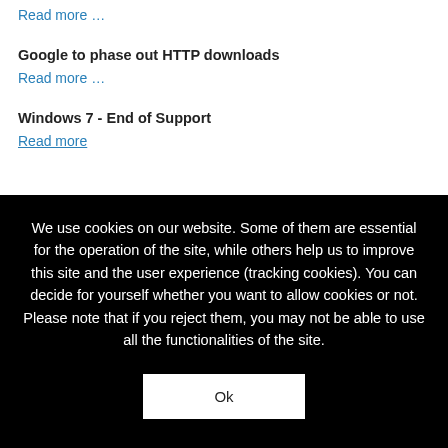Read more …
Google to phase out HTTP downloads
Read more …
Windows 7 - End of Support
Read more
We use cookies on our website. Some of them are essential for the operation of the site, while others help us to improve this site and the user experience (tracking cookies). You can decide for yourself whether you want to allow cookies or not. Please note that if you reject them, you may not be able to use all the functionalities of the site.
Ok
More information